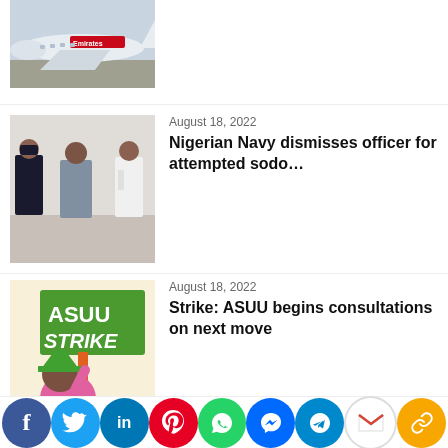[Figure (photo): Emirates airplane on tarmac, partial view at top of page]
[Figure (photo): Nigerian Navy officer being escorted by uniformed personnel]
August 18, 2022
Nigerian Navy dismisses officer for attempted sodo…
[Figure (illustration): Cartoon illustration of ASUU STRIKE sign with a character carrying it]
August 18, 2022
Strike: ASUU begins consultations on next move
[Figure (photo): Partial photo, bottom article thumbnail]
August 18, 2022
Northern youths protest insecurity in…